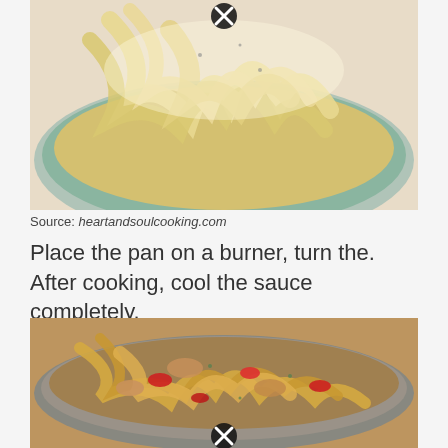[Figure (photo): Top-down photo of fettuccine pasta with cream sauce in a teal/white bowl, with a close button (X) overlay at the top center]
Source: heartandsoulcooking.com
Place the pan on a burner, turn the. After cooking, cool the sauce completely.
[Figure (photo): Photo of fettuccine pasta with chicken, red peppers and cream sauce in a stainless steel pan, with a close button (X) overlay at the bottom center]